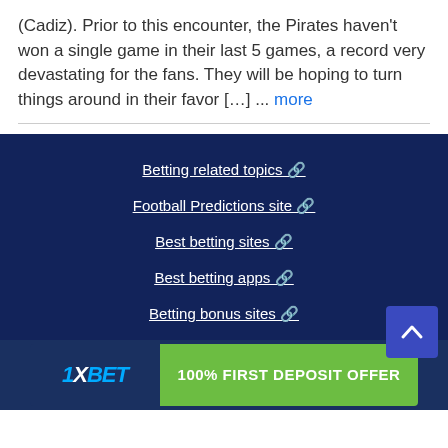(Cadiz). Prior to this encounter, the Pirates haven't won a single game in their last 5 games, a record very devastating for the fans. They will be hoping to turn things around in their favor […] ... more
Betting related topics 🔗
Football Predictions site 🔗
Best betting sites 🔗
Best betting apps 🔗
Betting bonus sites 🔗
[Figure (infographic): 1XBET advertisement banner with '100% FIRST DEPOSIT OFFER' in green button]